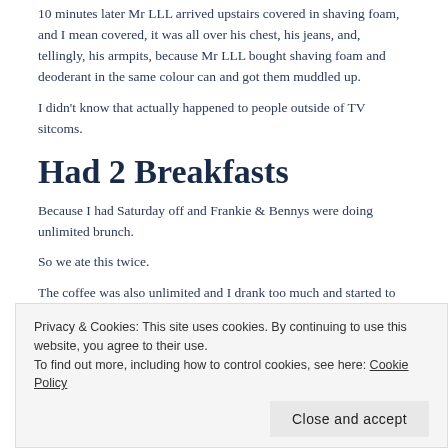10 minutes later Mr LLL arrived upstairs covered in shaving foam, and I mean covered, it was all over his chest, his jeans, and, tellingly, his armpits, because Mr LLL bought shaving foam and deoderant in the same colour can and got them muddled up.
I didn't know that actually happened to people outside of TV sitcoms.
Had 2 Breakfasts
Because I had Saturday off and Frankie & Bennys were doing unlimited brunch.
So we ate this twice.
The coffee was also unlimited and I drank too much and started to feel a bit queasy.
[Figure (photo): Partial view of a food/brunch photo, partially obscured by cookie consent banner]
Privacy & Cookies: This site uses cookies. By continuing to use this website, you agree to their use.
To find out more, including how to control cookies, see here: Cookie Policy